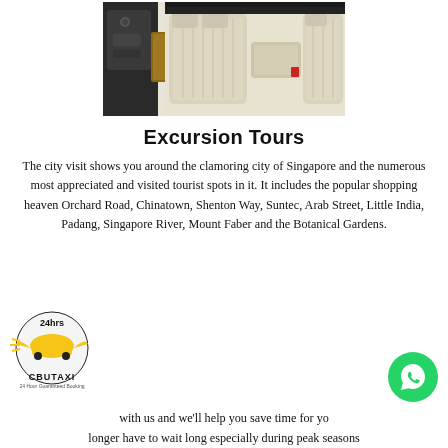[Figure (photo): Interior of a luxury car showing cream/white leather seats with armrest in the center and wood-trim dashboard on the left]
Excursion Tours
The city visit shows you around the clamoring city of Singapore and the numerous most appreciated and visited tourist spots in it. It includes the popular shopping heaven Orchard Road, Chinatown, Shenton Way, Suntec, Arab Street, Little India, Padang, Singapore River, Mount Faber and the Botanical Gardens.
[Figure (logo): Cbutaxi 24hrs logo — yellow taxi icon with circular design and text]
with us and we'll help you save time for yo longer have to wait long especially during peak seasons